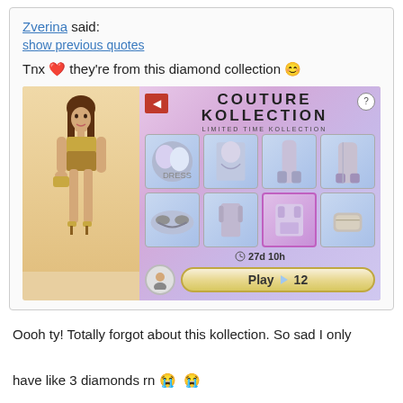Zverina said:
show previous quotes
Tnx ❤ they're from this diamond collection 😊
[Figure (screenshot): Screenshot of a mobile game showing 'Couture Kollection - Limited Time Kollection' with a female character avatar wearing gold/brown outfit on the left, and a grid of 8 fashion items on the right, with a timer showing '27d 10h' and a 'Play 💎 12' button at the bottom.]
Oooh ty! Totally forgot about this kollection. So sad I only have like 3 diamonds rn 😭 😭